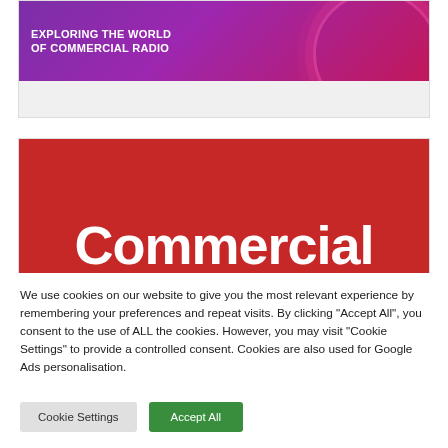[Figure (illustration): Purple banner with text 'EXPLORING THE WORLD OF COMMERCIAL RADIO' over decorative wave/circle patterns, with a grey placeholder area below.]
[Figure (illustration): Red banner with large white bold text 'Commercial' partially visible.]
We use cookies on our website to give you the most relevant experience by remembering your preferences and repeat visits. By clicking "Accept All", you consent to the use of ALL the cookies. However, you may visit "Cookie Settings" to provide a controlled consent. Cookies are also used for Google Ads personalisation.
Cookie Settings
Accept All